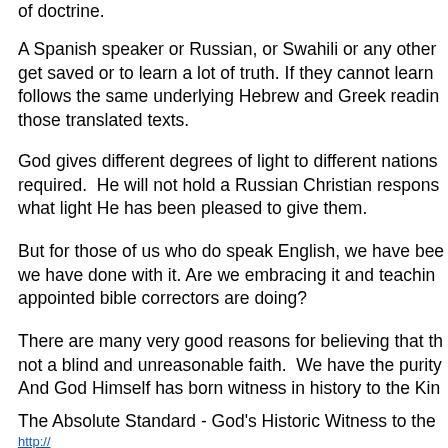of doctrine.
A Spanish speaker or Russian, or Swahili or any other get saved or to learn a lot of truth. If they cannot learn follows the same underlying Hebrew and Greek readin those translated texts.
God gives different degrees of light to different nations required.  He will not hold a Russian Christian respons what light He has been pleased to give them.
But for those of us who do speak English, we have bee we have done with it. Are we embracing it and teachin appointed bible correctors are doing?
There are many very good reasons for believing that th not a blind and unreasonable faith.  We have the purity And God Himself has born witness in history to the Kin
The Absolute Standard - God's Historic Witness to the
http://...